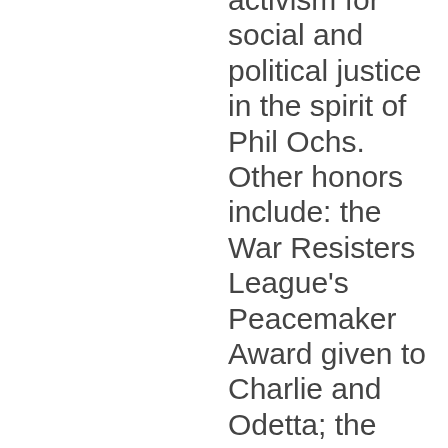activism for social and political justice in the spirit of Phil Ochs. Other honors include: the War Resisters League's Peacemaker Award given to Charlie and Odetta; the Sacco-Vanzetti Social Justice Award nominated by Pete Seeger and the Joe Hill Award. His songs have been recorded and sung by Pete & Peggy Seeger, Holly Near, Ronnie Gilbert, John McCutcheon, Arlo Guthrie, and Chad Mitchell. Folk legend Peggy Seeger says, "If we had more Charlie Kings in the world